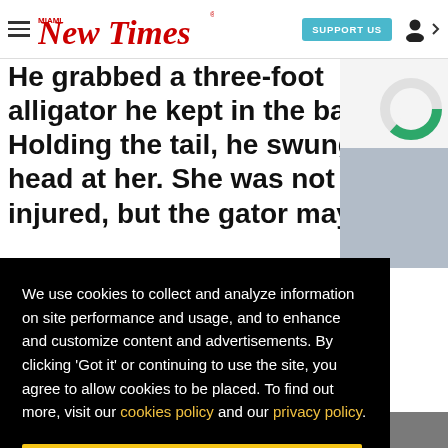Miami New Times — SUPPORT US
He grabbed a three-foot alligator he kept in the bathtub. Holding the tail, he swung the head at her. She was not injured, but the gator may have
We use cookies to collect and analyze information on site performance and usage, and to enhance and customize content and advertisements. By clicking 'Got it' or continuing to use the site, you agree to allow cookies to be placed. To find out more, visit our cookies policy and our privacy policy.
Got it!